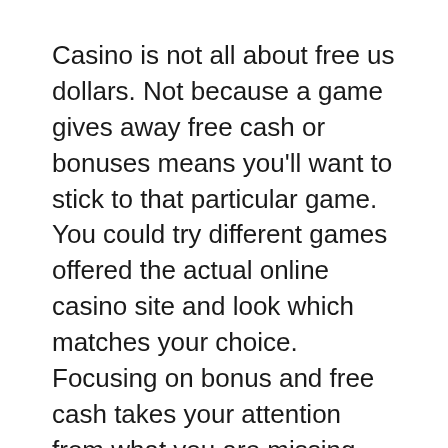Casino is not all about free us dollars. Not because a game gives away free cash or bonuses means you'll want to stick to that particular game. You could try different games offered the actual online casino site and look which matches your choice. Focusing on bonus and free cash takes your attention from what you are missing.
You do be sharp and it needs a lot of skill supplementations it in Casino Poker, whether you play at the real casino or in an Online Poker Environment. There is lots of pleasure when won by you and a lot of emotional distress when you're betting lots and cast. If you are searching for some extra drama with your life, this kind of is something you need